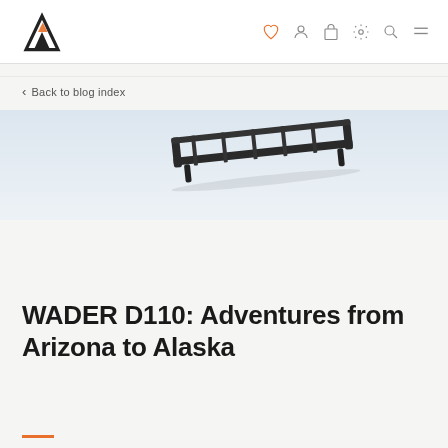Logo and navigation icons
< Back to blog index
[Figure (photo): Overhead roof rack product photo on light background, showing a black metal roof rack partially visible in upper portion of image]
WADER D110: Adventures from Arizona to Alaska